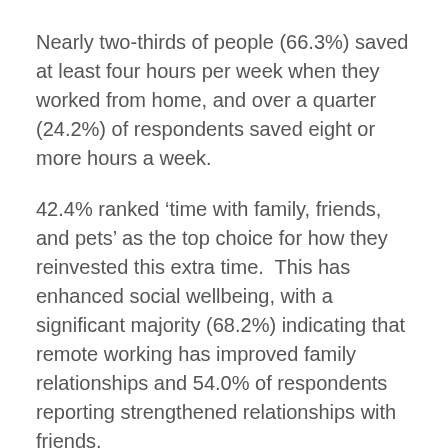Nearly two-thirds of people (66.3%) saved at least four hours per week when they worked from home, and over a quarter (24.2%) of respondents saved eight or more hours a week.
42.4% ranked ‘time with family, friends, and pets’ as the top choice for how they reinvested this extra time.  This has enhanced social wellbeing, with a significant majority (68.2%) indicating that remote working has improved family relationships and 54.0% of respondents reporting strengthened relationships with friends.
At the time of the survey, over 84.3% of respondents felt that their financial wellbeing improved because they could save money while working remotely.  The average saving has been